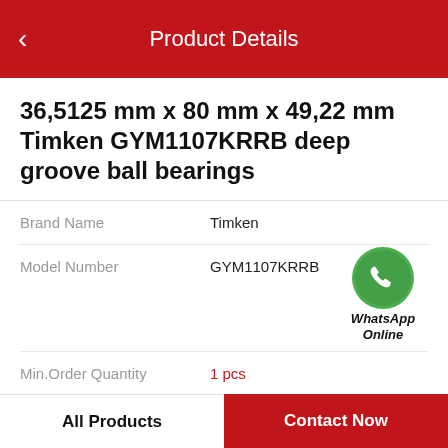Product Details
36,5125 mm x 80 mm x 49,22 mm Timken GYM1107KRRB deep groove ball bearings
| Brand Name | Timken |
| Model Number | GYM1107KRRB |
| Min.Order Quantity | 1 pcs |
| Price | Negotiable |
[Figure (logo): WhatsApp Online green circle logo with phone icon and text 'WhatsApp Online']
Product Features